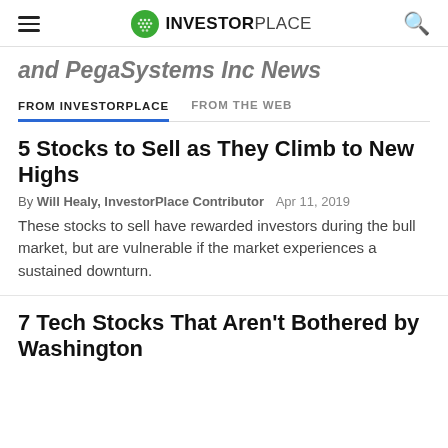INVESTORPLACE
and PegaSystems Inc News
FROM INVESTORPLACE   FROM THE WEB
5 Stocks to Sell as They Climb to New Highs
By Will Healy, InvestorPlace Contributor   Apr 11, 2019
These stocks to sell have rewarded investors during the bull market, but are vulnerable if the market experiences a sustained downturn.
7 Tech Stocks That Aren't Bothered by Washington